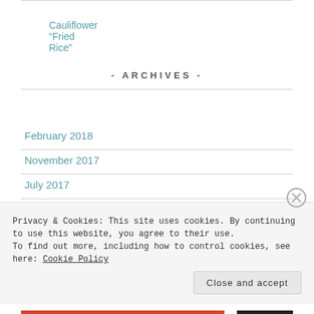Cauliflower “Fried Rice”
- ARCHIVES -
February 2018
November 2017
July 2017
September 2016
Privacy & Cookies: This site uses cookies. By continuing to use this website, you agree to their use.
To find out more, including how to control cookies, see here: Cookie Policy
Close and accept